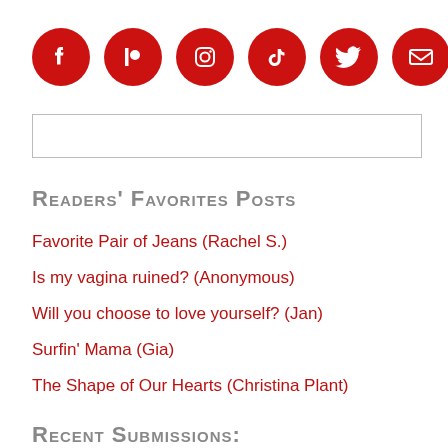[Figure (infographic): Six red circular social media icons in a row: Facebook, Patreon, Instagram, TikTok, Twitter, Email/envelope]
[Figure (other): Search input box, empty, with thin border]
Readers' Favorites Posts
Favorite Pair of Jeans (Rachel S.)
Is my vagina ruined? (Anonymous)
Will you choose to love yourself? (Jan)
Surfin' Mama (Gia)
The Shape of Our Hearts (Christina Plant)
Recent Submissions: